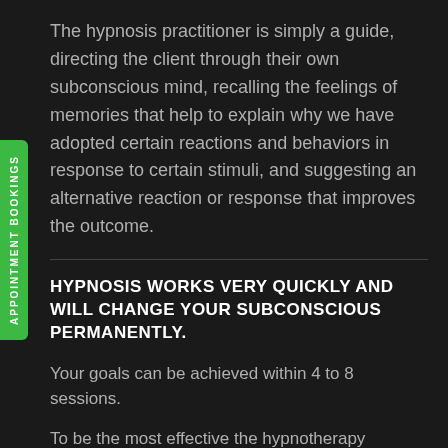The hypnosis practitioner is simply a guide, directing the client through their own subconscious mind, recalling the feelings of memories that help to explain why we have adopted certain reactions and behaviors in response to certain stimuli, and suggesting an alternative reaction or response that improves the outcome.
HYPNOSIS WORKS VERY QUICKLY AND WILL CHANGE YOUR SUBCONSCIOUS PERMANENTLY.
Your goals can be achieved within 4 to 8 sessions.
To be the most effective the hypnotherapy sessions are 4-7 days apart.
Past Life Regression, Concentration & Focus, Flying Without Fear, Motivation For Exercise, Stop Smoking